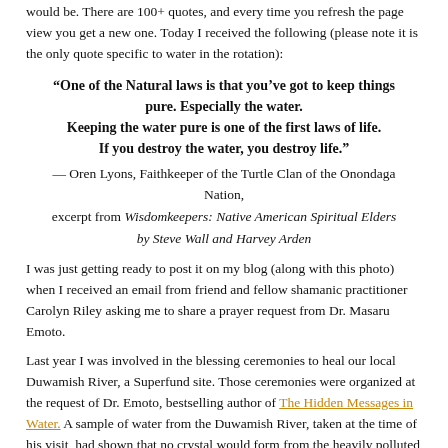would be. There are 100+ quotes, and every time you refresh the page view you get a new one. Today I received the following (please note it is the only quote specific to water in the rotation):
“One of the Natural laws is that you’ve got to keep things pure. Especially the water. Keeping the water pure is one of the first laws of life. If you destroy the water, you destroy life.” — Oren Lyons, Faithkeeper of the Turtle Clan of the Onondaga Nation, excerpt from Wisdomkeepers: Native American Spiritual Elders by Steve Wall and Harvey Arden
I was just getting ready to post it on my blog (along with this photo) when I received an email from friend and fellow shamanic practitioner Carolyn Riley asking me to share a prayer request from Dr. Masaru Emoto.
Last year I was involved in the blessing ceremonies to heal our local Duwamish River, a Superfund site. Those ceremonies were organized at the request of Dr. Emoto, bestselling author of The Hidden Messages in Water. A sample of water from the Duwamish River, taken at the time of his visit, had shown that no crystal would form from the heavily polluted water, hence his request for the